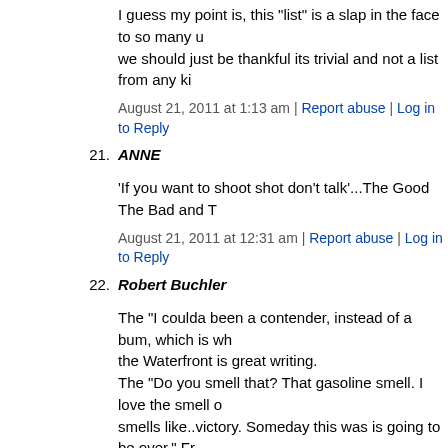I guess my point is, this "list" is a slap in the face to so many u... we should just be thankful its trivial and not a list from any ki...
August 21, 2011 at 1:13 am | Report abuse | Log in to Reply
21. ANNE
'If you want to shoot shot don't talk'...The Good The Bad and T...
August 21, 2011 at 12:31 am | Report abuse | Log in to Reply
22. Robert Buchler
The "I coulda been a contender, instead of a bum, which is wh... the Waterfront is great writing.
The "Do you smell that? That gasoline smell. I love the smell o... smells like..victory. Someday this was is going to be over." Fr...
August 21, 2011 at 12:25 am | Report abuse | Log in to Reply
23. Jayne
Not a speech but a great one liner from James Cagney "Made i... Then BOOM!
August 20, 2011 at 11:57 pm | Report abuse | Log in to Reply
24. Matt
Paul Newman in The Verdict is a great one: http://www.youtub...